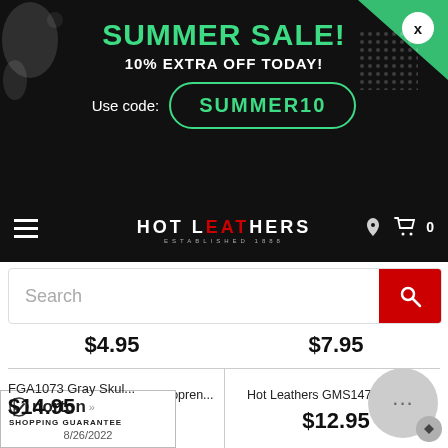[Figure (screenshot): Summer sale promotional banner on dark background with green text reading SUMMER SALE! 10% EXTRA OFF TODAY! and a promo code box SUMMER10, with decorative splatter elements]
[Figure (screenshot): Navigation bar with hamburger menu icon on left, Hot Leathers logo in center (Established 1888), phone and cart icons on right]
[Figure (screenshot): Search bar with Search placeholder text and red search button]
$4.95
$7.95
Hot Leathers FMB1002 Neopren...
$14.95
Hot Leathers GMS1474 Men’s S...
$12.95
FGA1073 Gray Skul...
$14.95
[Figure (logo): Norton Shopping Guarantee badge dated 8/26/2022]
[Figure (other): Chat support bubble with ellipsis icon]